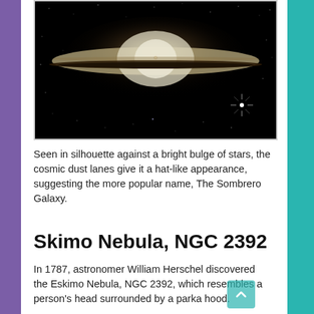[Figure (photo): Hubble Space Telescope image of the Sombrero Galaxy (M104), showing an edge-on spiral galaxy with a bright central bulge and dark dust lane against a starfield background.]
Seen in silhouette against a bright bulge of stars, the cosmic dust lanes give it a hat-like appearance, suggesting the more popular name, The Sombrero Galaxy.
Skimo Nebula, NGC 2392
In 1787, astronomer William Herschel discovered the Eskimo Nebula, NGC 2392, which resembles a person's head surrounded by a parka hood.